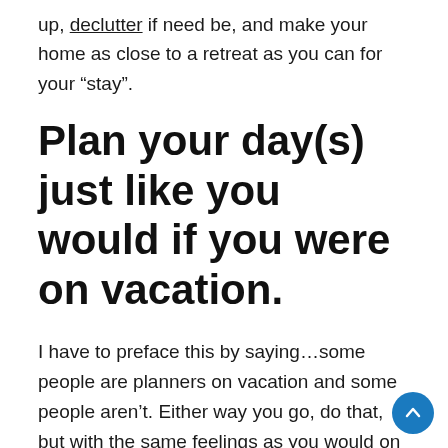up, declutter if need be, and make your home as close to a retreat as you can for your “stay”.
Plan your day(s) just like you would if you were on vacation.
I have to preface this by saying…some people are planners on vacation and some people aren’t. Either way you go, do that, but with the same feelings as you would on vacation. In general though, most people tend to relax on vacation. They worry a little less about time, diets, and they are a bit more adventurous. Even if you plan your days down to the minute,